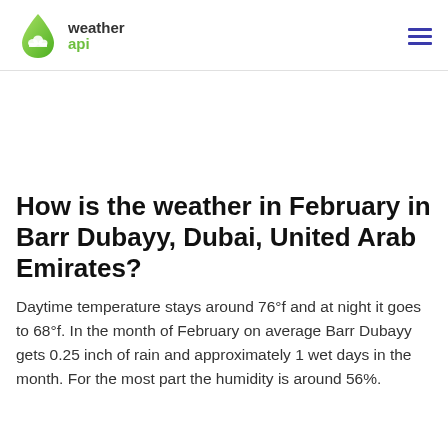weather api
How is the weather in February in Barr Dubayy, Dubai, United Arab Emirates?
Daytime temperature stays around 76°f and at night it goes to 68°f. In the month of February on average Barr Dubayy gets 0.25 inch of rain and approximately 1 wet days in the month. For the most part the humidity is around 56%.